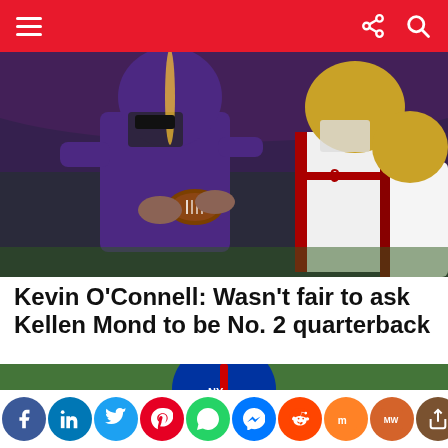Navigation header with hamburger menu, share icon, and search icon
[Figure (photo): Minnesota Vikings quarterback Kellen Mond in purple uniform holding football, being pursued by San Francisco 49ers defenders in white uniforms with red stripes]
Kevin O'Connell: Wasn't fair to ask Kellen Mond to be No. 2 quarterback
[Figure (photo): NFL player in New York Giants white uniform and blue helmet in a practice or game setting]
Social sharing bar: Facebook, LinkedIn, Twitter, Pinterest, WhatsApp, Messenger, Reddit, Mix, MW, Share